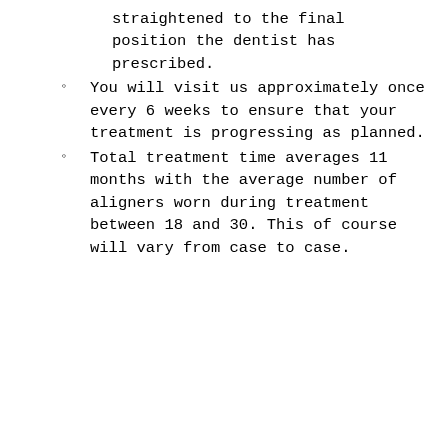straightened to the final position the dentist has prescribed.
You will visit us approximately once every 6 weeks to ensure that your treatment is progressing as planned.
Total treatment time averages 11 months with the average number of aligners worn during treatment between 18 and 30. This of course will vary from case to case.